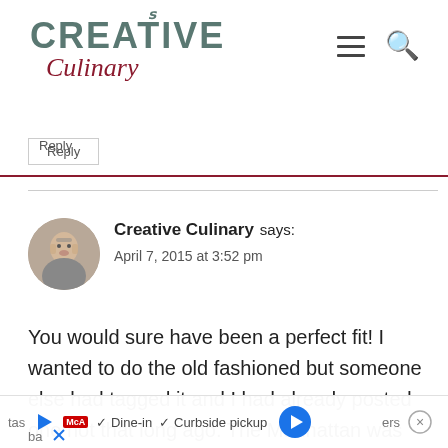Creative Culinary — website header with logo, hamburger menu, and search icon
Reply
Creative Culinary says:
April 7, 2015 at 3:52 pm
You would sure have been a perfect fit! I wanted to do the old fashioned but someone else had tagged it and I had already posted one not that long ago. The Manhattan was sure